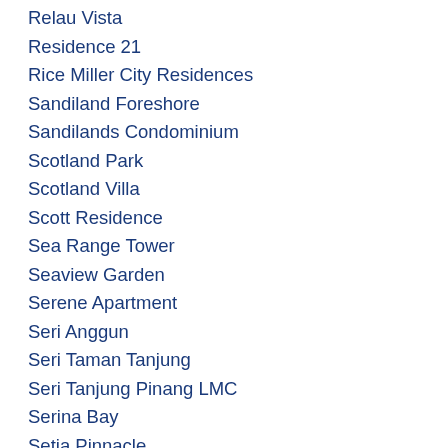Relau Vista
Residence 21
Rice Miller City Residences
Sandiland Foreshore
Sandilands Condominium
Scotland Park
Scotland Villa
Scott Residence
Sea Range Tower
Seaview Garden
Serene Apartment
Seri Anggun
Seri Taman Tanjung
Seri Tanjung Pinang LMC
Serina Bay
Setia Pinnacle
Setia Sky Ville
Setia Sky Vista